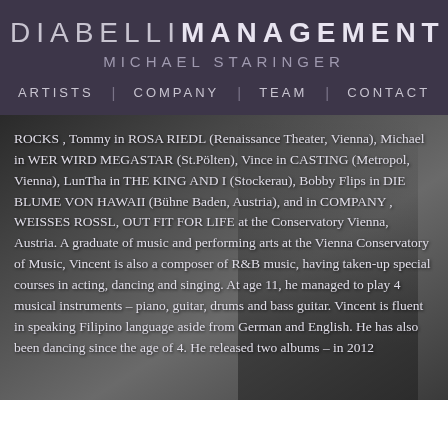DIABELLI MANAGEMENT
MICHAEL STARINGER
ARTISTS | COMPANY | TEAM | CONTACT
ROCKS , Tommy in ROSA RIEDL (Renaissance Theater, Vienna), Michael in WER WIRD MEGASTAR (St.Pölten), Vince in CASTING (Metropol, Vienna), LunTha in THE KING AND I (Stockerau), Bobby Flips in DIE BLUME VON HAWAII (Bühne Baden, Austria), and in COMPANY , WEISSES ROSSL, OUT FIT FOR LIFE at the Conservatory Vienna, Austria. A graduate of music and performing arts at the Vienna Conservatory of Music, Vincent is also a composer of R&B music, having taken-up special courses in acting, dancing and singing. At age 11, he managed to play 4 musical instruments – piano, guitar, drums and bass guitar. Vincent is fluent in speaking Filipino language aside from German and English. He has also been dancing since the age of 4. He released two albums – in 2012